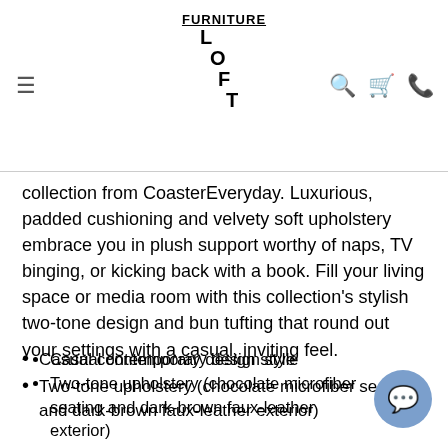FURNITURE LOFT — navigation header with hamburger menu, logo, search, cart, and phone icons
collection from CoasterEveryday. Luxurious, padded cushioning and velvety soft upholstery embrace you in plush support worthy of naps, TV binging, or kicking back with a book. Fill your living space or media room with this collection's stylish two-tone design and bun tufting that round out your settings with a casual, inviting feel.
Casual contemporary design style
Two-tone upholstery (chocolate microfiber seating and dark-brown faux-leather exterior)
Bun tufting provides soft texture and reinforced padding that extends furniture's lifetime
Black-finished tapered legs
Individually wrapped pocket-coiled springs
Webbed deck seating